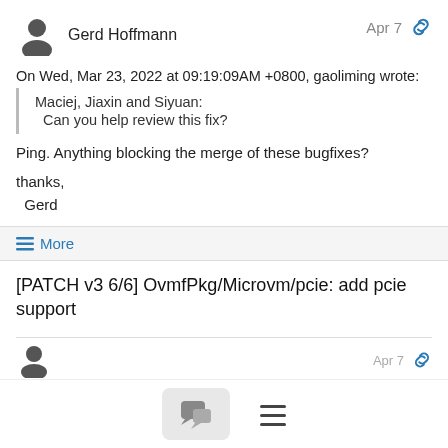Gerd Hoffmann
Apr 7
On Wed, Mar 23, 2022 at 09:19:09AM +0800, gaoliming wrote:
Maciej, Jiaxin and Siyuan:
  Can you help review this fix?
Ping.  Anything blocking the merge of these bugfixes?
thanks,
  Gerd
≡ More
[PATCH v3 6/6] OvmfPkg/Microvm/pcie: add pcie support